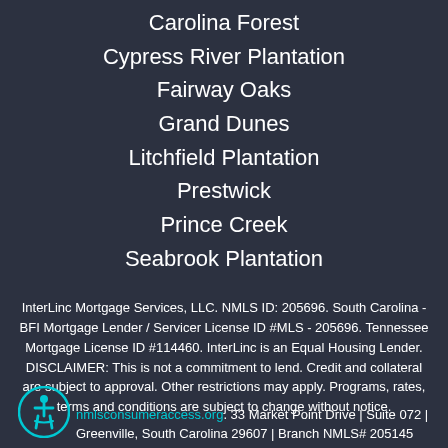Carolina Forest
Cypress River Plantation
Fairway Oaks
Grand Dunes
Litchfield Plantation
Prestwick
Prince Creek
Seabrook Plantation
InterLinc Mortgage Services, LLC. NMLS ID: 205696. South Carolina - BFI Mortgage Lender / Servicer License ID #MLS - 205696. Tennessee Mortgage License ID #114460. InterLinc is an Equal Housing Lender. DISCLAIMER: This is not a commitment to lend. Credit and collateral are subject to approval. Other restrictions may apply. Programs, rates, terms and conditions are subject to change without notice.
nmlsconsumeraccess.org. 33 Market Point Drive | Suite 072 | Greenville, South Carolina 29607 | Branch NMLS# 205145